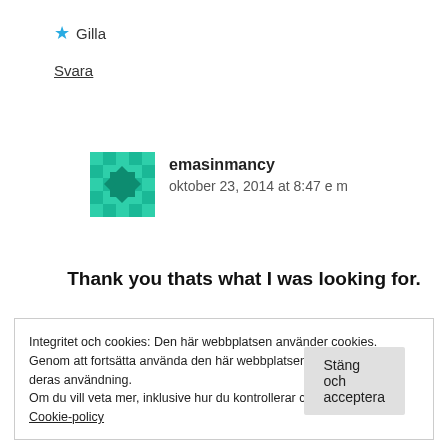★ Gilla
Svara
[Figure (illustration): Green mosaic/geometric avatar icon for user emasinmancy]
emasinmancy
oktober 23, 2014 at 8:47 e m
Thank you thats what I was looking for.
Integritet och cookies: Den här webbplatsen använder cookies. Genom att fortsätta använda den här webbplatsen godkänner du deras användning.
Om du vill veta mer, inklusive hur du kontrollerar cookies, se: Cookie-policy
Stäng och acceptera